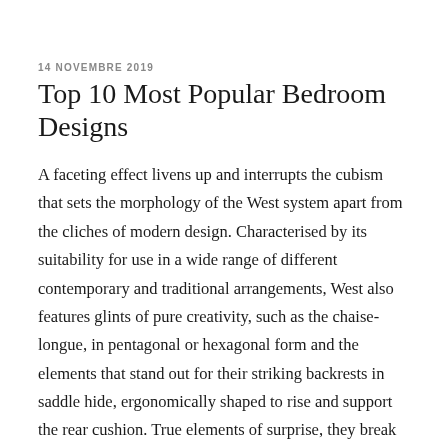14 NOVEMBRE 2019
Top 10 Most Popular Bedroom Designs
A faceting effect livens up and interrupts the cubism that sets the morphology of the West system apart from the cliches of modern design. Characterised by its suitability for use in a wide range of different contemporary and traditional arrangements, West also features glints of pure creativity, such as the chaise-longue, in pentagonal or hexagonal form and the elements that stand out for their striking backrests in saddle hide, ergonomically shaped to rise and support the rear cushion. True elements of surprise, they break up the compositional layout, creating a stylistic point of interest, and interrupting the continuous effect of the fabric covering, visually lightening the volume at the rear. A solution